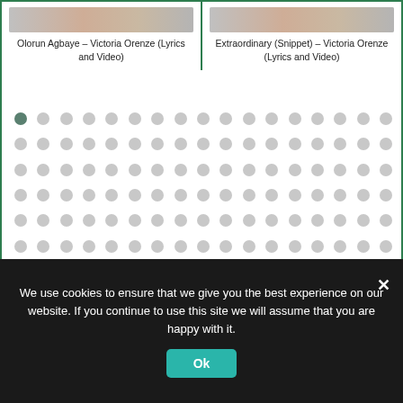Olorun Agbaye – Victoria Orenze (Lyrics and Video)
Extraordinary (Snippet) – Victoria Orenze (Lyrics and Video)
[Figure (other): Dot grid pagination/slider indicator with one active (darker) dot in top-left position and remaining dots in light gray]
We use cookies to ensure that we give you the best experience on our website. If you continue to use this site we will assume that you are happy with it.